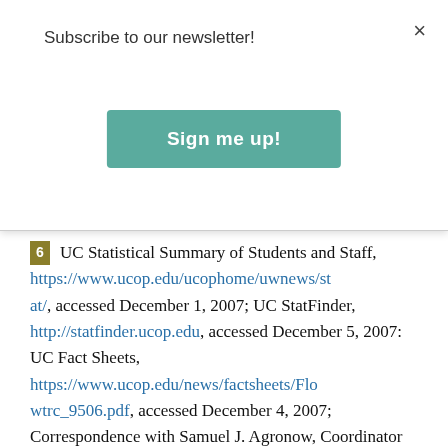Subscribe to our newsletter!
Sign me up!
6 UC Statistical Summary of Students and Staff, https://www.ucop.edu/ucophome/uwnews/stat/, accessed December 1, 2007; UC StatFinder, http://statfinder.ucop.edu, accessed December 5, 2007: UC Fact Sheets, https://www.ucop.edu/news/factsheets/Flowtrc_9506.pdf, accessed December 4, 2007; Correspondence with Samuel J. Agronow, Coordinator of Admissions Research and Evaluation, University of California Office of...